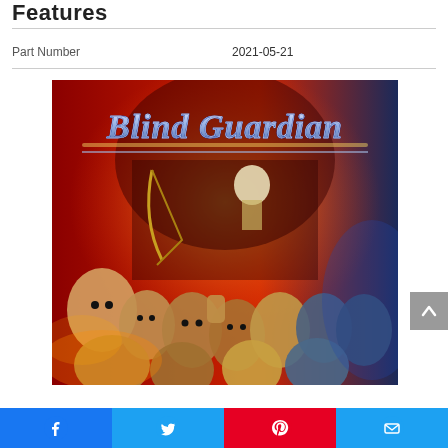Features
| Part Number | 2021-05-21 |
| --- | --- |
[Figure (illustration): Blind Guardian album cover artwork showing fantasy/metal imagery with creatures and a crowd scene. The band name 'Blind Guardian' is displayed in ornate medieval-style lettering at the top against a red and blue dramatic background.]
Facebook | Twitter | Pinterest | Email social sharing bar